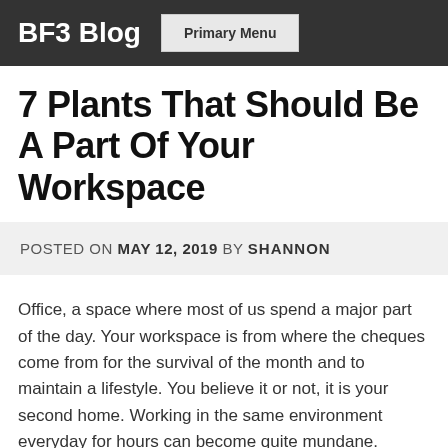BF3 Blog  Primary Menu
7 Plants That Should Be A Part Of Your Workspace
POSTED ON MAY 12, 2019 BY SHANNON
Office, a space where most of us spend a major part of the day. Your workspace is from where the cheques come from for the survival of the month and to maintain a lifestyle. You believe it or not, it is your second home. Working in the same environment everyday for hours can become quite mundane. Plants can enliven the drab office environment and create a look where one would actually want to sit and work. Not only